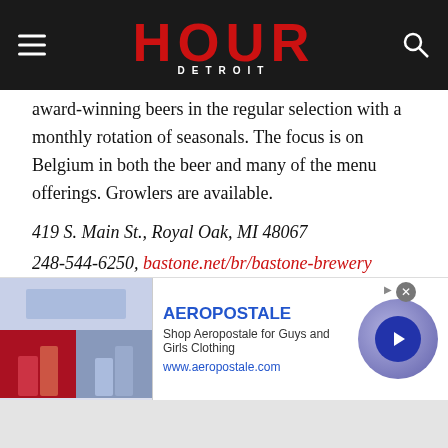HOUR DETROIT
award-winning beers in the regular selection with a monthly rotation of seasonals. The focus is on Belgium in both the beer and many of the menu offerings. Growlers are available.
419 S. Main St., Royal Oak, MI 48067
248-544-6250, bastone.net/br/bastone-brewery
– – – –
GRIFFIN CLAW BREWING CO.
[Figure (screenshot): Aeropostale advertisement banner with clothing images, brand name, description 'Shop Aeropostale for Guys and Girls Clothing', URL www.aeropostale.com, and a navigation arrow button]